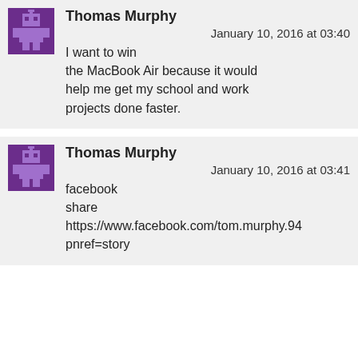Thomas Murphy
January 10, 2016 at 03:40
I want to win the MacBook Air because it would help me get my school and work projects done faster.
Thomas Murphy
January 10, 2016 at 03:41
facebook share https://www.facebook.com/tom.murphy.94 pnref=story